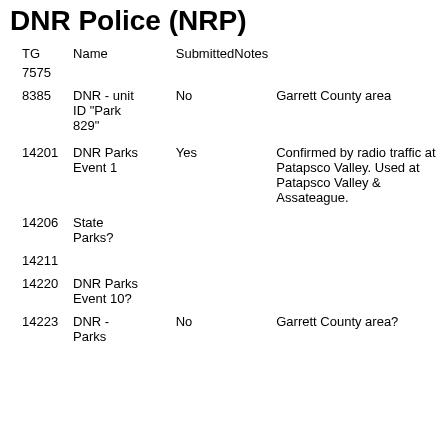DNR Police (NRP)
| TG | Name | SubmittedNotes |
| --- | --- | --- |
| 7575 |  |  |  |
| 8385 | DNR - unit ID "Park 829" | No | Garrett County area |
| 14201 | DNR Parks Event 1 | Yes | Confirmed by radio traffic at Patapsco Valley. Used at Patapsco Valley & Assateague. |
| 14206 | State Parks? |  |  |
| 14211 |  |  |  |
| 14220 | DNR Parks Event 10? |  |  |
| 14223 | DNR - Parks | No | Garrett County area? |